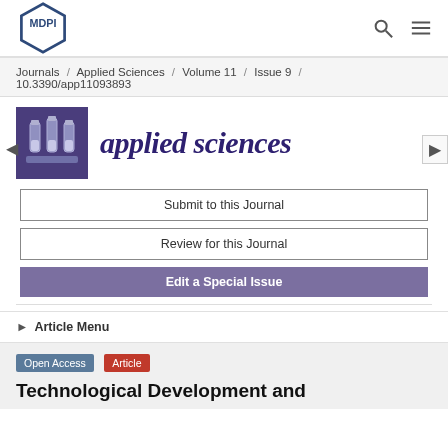[Figure (logo): MDPI logo — hexagonal outline with MDPI text inside]
Journals / Applied Sciences / Volume 11 / Issue 9 / 10.3390/app11093893
[Figure (logo): Applied Sciences journal logo — purple box with test tubes icon and italic 'applied sciences' text]
Submit to this Journal
Review for this Journal
Edit a Special Issue
▶ Article Menu
Open Access  Article
Technological Development and